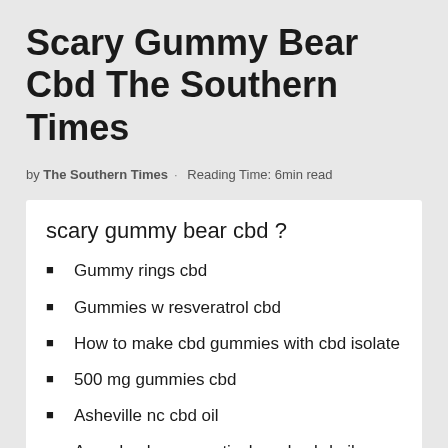Scary Gummy Bear Cbd The Southern Times
by The Southern Times · Reading Time: 6min read
scary gummy bear cbd ?
Gummy rings cbd
Gummies w resveratrol cbd
How to make cbd gummies with cbd isolate
500 mg gummies cbd
Asheville nc cbd oil
Ananda pharmaceutical grade cbd oil